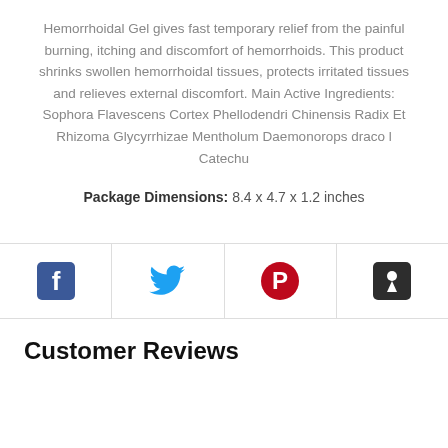Hemorrhoidal Gel gives fast temporary relief from the painful burning, itching and discomfort of hemorrhoids. This product shrinks swollen hemorrhoidal tissues, protects irritated tissues and relieves external discomfort. Main Active Ingredients: Sophora Flavescens Cortex Phellodendri Chinensis Radix Et Rhizoma Glycyrrhizae Mentholum Daemonorops draco l Catechu
Package Dimensions: 8.4 x 4.7 x 1.2 inches
[Figure (infographic): Social sharing bar with four icons: Facebook (blue square with f), Twitter (blue bird), Pinterest (red circle with P), and Fancy/Fancy app (dark square with pin icon)]
Customer Reviews